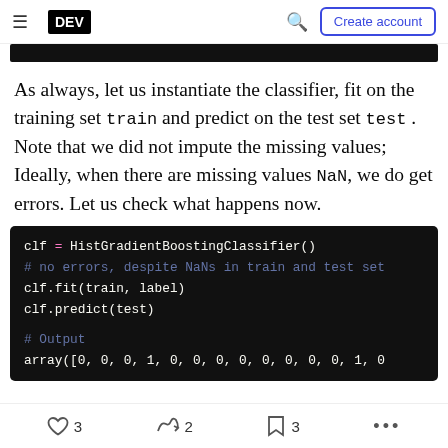DEV | Create account
[Figure (screenshot): Dark code block partially visible at top]
As always, let us instantiate the classifier, fit on the training set train and predict on the test set test . Note that we did not impute the missing values; Ideally, when there are missing values NaN, we do get errors. Let us check what happens now.
clf = HistGradientBoostingClassifier()
# no errors, despite NaNs in train and test set
clf.fit(train, label)
clf.predict(test)

# Output
array([0, 0, 0, 1, 0, 0, 0, 0, 0, 0, 0, 0, 1, 0
3  2  3  ...